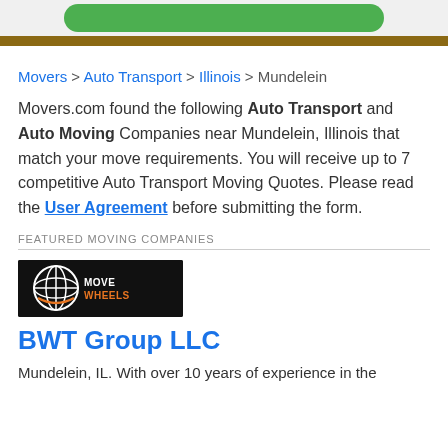[Green button bar at top]
Movers > Auto Transport > Illinois > Mundelein
Movers.com found the following Auto Transport and Auto Moving Companies near Mundelein, Illinois that match your move requirements. You will receive up to 7 competitive Auto Transport Moving Quotes. Please read the User Agreement before submitting the form.
FEATURED MOVING COMPANIES
[Figure (logo): MoveWheels company logo — black background with stylized wheel/globe graphic and text MOVEWHEELS in white and orange]
BWT Group LLC
Mundelein, IL. With over 10 years of experience in the